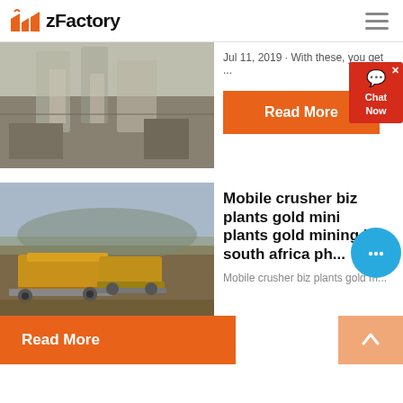zFactory
[Figure (photo): Industrial cement or mining plant facility with silos and metal structures, partially visible at top]
Jul 11, 2019 · With these, you get ...
Read More
[Figure (photo): Yellow mobile crusher machine on tracks in an open mining area with hills in background]
Mobile crusher biz plants gold mining in south africa ph...
Mobile crusher biz plants gold m...
Read More